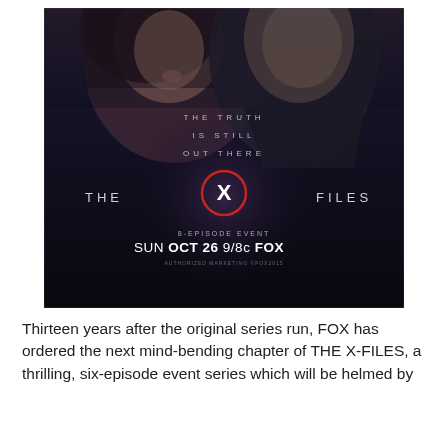[Figure (photo): The X-Files promotional poster showing two figures (a woman and a man) in dark lighting with the tagline 'THE TRUTH IS STILL OUT THERE', THE X FILES logo with a red-circled X, '8-EPISODE EVENT SUN OCT 26 9/8c FOX']
Thirteen years after the original series run, FOX has ordered the next mind-bending chapter of THE X-FILES, a thrilling, six-episode event series which will be helmed by